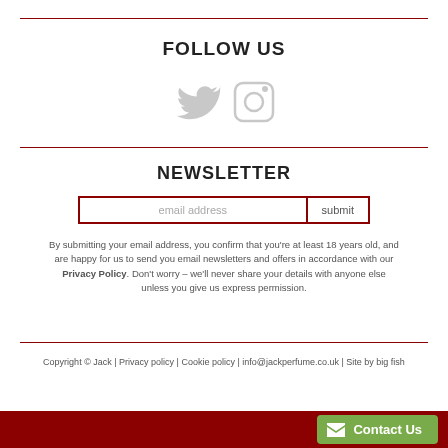FOLLOW US
[Figure (illustration): Twitter bird icon and Instagram camera icon in light grey]
NEWSLETTER
email address [input field] submit [button]
By submitting your email address, you confirm that you’re at least 18 years old, and are happy for us to send you email newsletters and offers in accordance with our Privacy Policy. Don’t worry – we’ll never share your details with anyone else unless you give us express permission.
Copyright © Jack | Privacy policy | Cookie policy | info@jackperfume.co.uk | Site by big fish
Contact Us